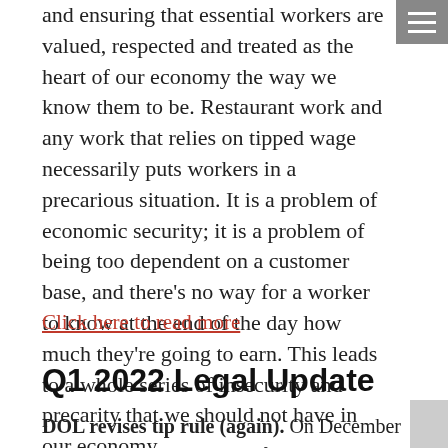and ensuring that essential workers are valued, respected and treated as the heart of our economy the way we know them to be. Restaurant work and any work that relies on tipped wage necessarily puts workers in a precarious situation. It is a problem of economic security; it is a problem of being too dependent on a customer base, and there's no way for a worker to know at the end of the day how much they're going to earn. This leads to a whole series of insecurity and precarity that we should not have in our economy.
Click here to read more
Q1 2022 Legal Update
DOL revises tip rule (again). On December 28, 2021, the Department of Labor revoked its 2020 Tip Final Rule and passed a new Final Rule. The new Final Rule not only